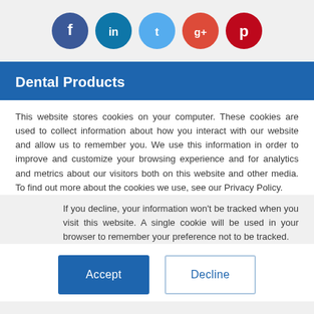[Figure (illustration): Row of five social media circular icon buttons: Facebook (dark blue), LinkedIn (teal blue), Twitter (light blue), Google+ (orange-red), Pinterest (dark red)]
Dental Products
This website stores cookies on your computer. These cookies are used to collect information about how you interact with our website and allow us to remember you. We use this information in order to improve and customize your browsing experience and for analytics and metrics about our visitors both on this website and other media. To find out more about the cookies we use, see our Privacy Policy.
If you decline, your information won't be tracked when you visit this website. A single cookie will be used in your browser to remember your preference not to be tracked.
Accept   Decline